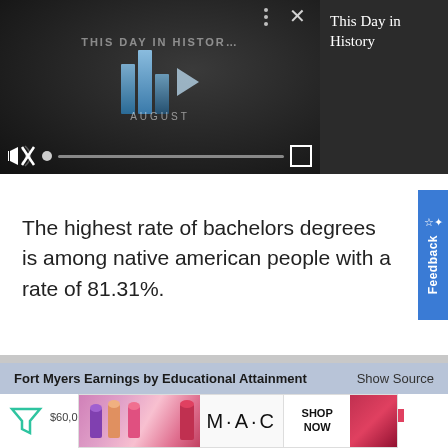[Figure (screenshot): Video player showing 'This Day in History' with play button, progress bar, mute icon, and fullscreen controls on dark background. Adjacent dark sidebar shows text 'This Day in History']
The highest rate of bachelors degrees is among native american people with a rate of 81.31%.
Fort Myers Earnings by Educational Attainment    Show Source
[Figure (bar-chart): Partial bar chart for Fort Myers Earnings by Educational Attainment, showing y-axis label around $60,000 and legend squares, partially obscured by advertisement. Filter icon visible at left.]
[Figure (advertisement): MAC cosmetics advertisement showing lipsticks with 'SHOP NOW' button]